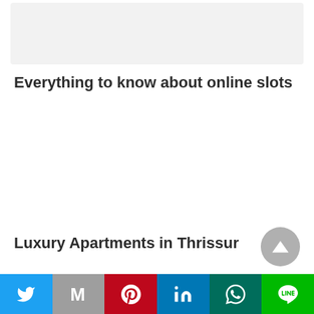[Figure (photo): Light gray placeholder image at top of page]
Everything to know about online slots
Luxury Apartments in Thrissur
[Figure (other): Social media share bar with Twitter, Gmail/M, Pinterest, LinkedIn, WhatsApp, and LINE buttons]